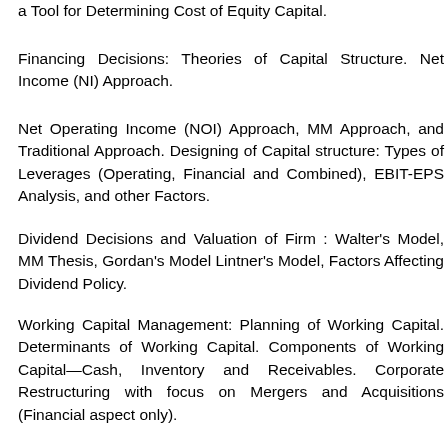a Tool for Determining Cost of Equity Capital.
Financing Decisions: Theories of Capital Structure. Net Income (NI) Approach.
Net Operating Income (NOI) Approach, MM Approach, and Traditional Approach. Designing of Capital structure: Types of Leverages (Operating, Financial and Combined), EBIT-EPS Analysis, and other Factors.
Dividend Decisions and Valuation of Firm : Walter's Model, MM Thesis, Gordan's Model Lintner's Model, Factors Affecting Dividend Policy.
Working Capital Management: Planning of Working Capital. Determinants of Working Capital. Components of Working Capital—Cash, Inventory and Receivables. Corporate Restructuring with focus on Mergers and Acquisitions (Financial aspect only).